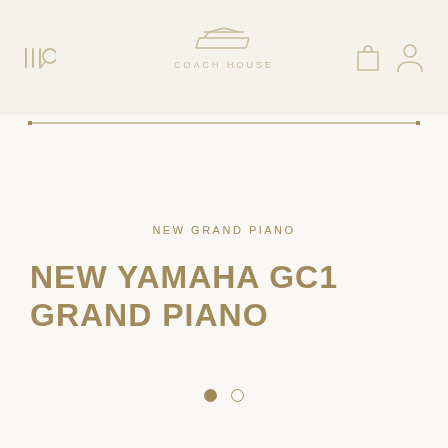COACH HOUSE
NEW GRAND PIANO
NEW YAMAHA GC1 GRAND PIANO
[Figure (other): Two pagination dots: one filled (active) and one empty circle]